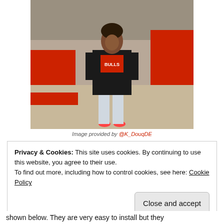[Figure (photo): A woman standing outdoors in a parking structure area with red curbing. She wears a black blazer over a Bulls graphic tee, light-wash jeans, and coral/neon pink heels. She poses with hands on hips.]
Image provided by @K_DouqDE
Privacy & Cookies: This site uses cookies. By continuing to use this website, you agree to their use.
To find out more, including how to control cookies, see here: Cookie Policy
Close and accept
shown below. They are very easy to install but they